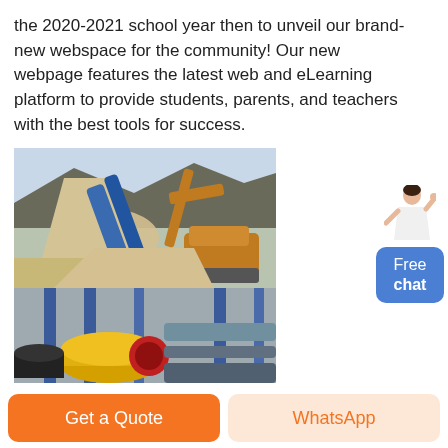the 2020-2021 school year then to unveil our brand-new webspace for the community! Our new webpage features the latest web and eLearning platform to provide students, parents, and teachers with the best tools for success.
[Figure (photo): Two photos stacked: top photo shows heavy construction/mining machinery (excavator and conveyor belt with sand/gravel cascade at a quarry); bottom photo shows colorful industrial pipes/valves in a factory setting (red, yellow piping).]
[Figure (illustration): A person (woman) standing with one arm raised, next to a blue rounded-rectangle button labelled 'Free chat'.]
Get a Quote
WhatsApp